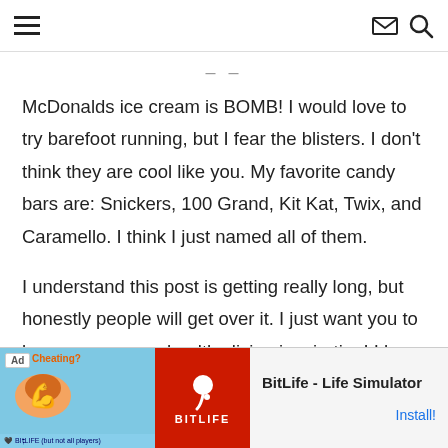Navigation header with hamburger menu, envelope icon, and search icon
McDonalds ice cream is BOMB! I would love to try barefoot running, but I fear the blisters. I don't think they are cool like you. My favorite candy bars are: Snickers, 100 Grand, Kit Kat, Twix, and Caramello. I think I just named all of them.
I understand this post is getting really long, but honestly people will get over it. I just want you to know you are my healthy living inspiration! I have eaten a ton more vegetables then I normally do and tried new exercises because of you! And it feels
[Figure (screenshot): Ad banner for BitLife - Life Simulator app with cheating-themed image on left and red BitLife logo, with Install! call to action]